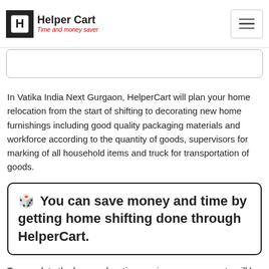Helper Cart — Time and money saver
In Vatika India Next Gurgaon, HelperCart will plan your home relocation from the start of shifting to decorating new home furnishings including good quality packaging materials and workforce according to the quantity of goods, supervisors for marking of all household items and truck for transportation of goods.
🎲 You can save money and time by getting home shifting done through HelperCart.
To complete the home relocation services, many experts will be required such as packing materials, manpower, truck, plumber, carpenter, electrician etc. If you take all these services